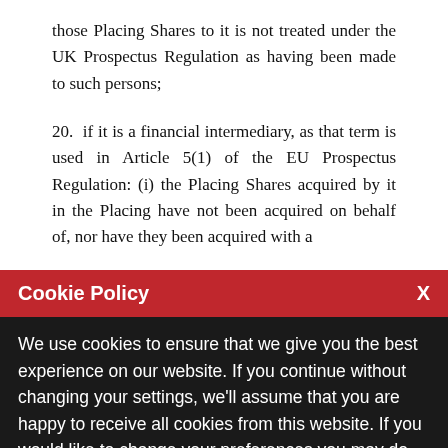those Placing Shares to it is not treated under the UK Prospectus Regulation as having been made to such persons;
20.  if it is a financial intermediary, as that term is used in Article 5(1) of the EU Prospectus Regulation: (i) the Placing Shares acquired by it in the Placing have not been acquired on behalf of, nor have they been acquired with a
Cookie Policy
We use cookies to ensure that we give you the best experience on our website. If you continue without changing your settings, we'll assume that you are happy to receive all cookies from this website. If you would like to change your preferences you may do so by following the instructions here.